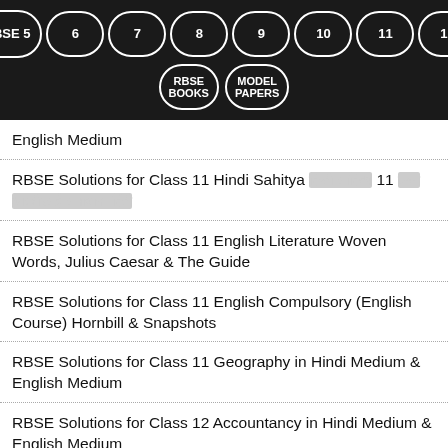RBSE 5 | 6 | 7 | 8 | 9 | 10 | 11 | 12 | RBSE BOOKS | MODEL PAPERS
English Medium
RBSE Solutions for Class 11 Hindi Sahitya [Hindi text] 11 [Hindi text]
RBSE Solutions for Class 11 English Literature Woven Words, Julius Caesar & The Guide
RBSE Solutions for Class 11 English Compulsory (English Course) Hornbill & Snapshots
RBSE Solutions for Class 11 Geography in Hindi Medium & English Medium
RBSE Solutions for Class 12 Accountancy in Hindi Medium & English Medium
RBSE Solutions for Class 11 Home Science in Hindi